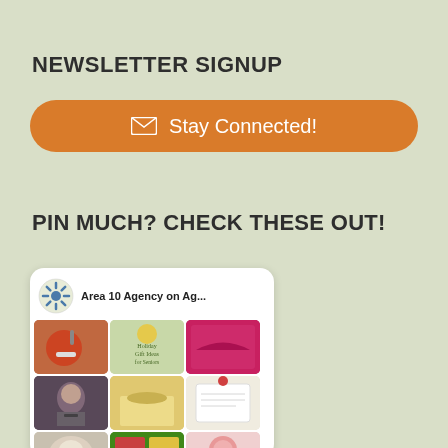NEWSLETTER SIGNUP
Stay Connected!
PIN MUCH? CHECK THESE OUT!
[Figure (screenshot): Pinterest board widget showing 'Area 10 Agency on Ag...' with a grid of pinned images including food, gifts, fabric, people, and other items.]